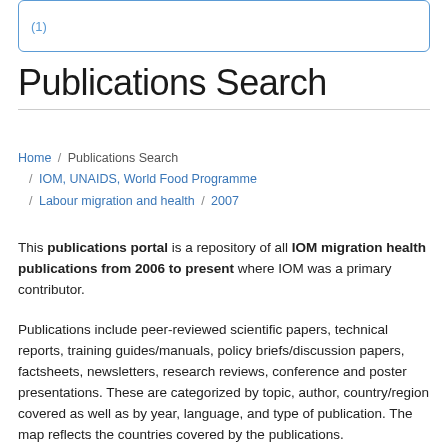[Figure (screenshot): Search box with blue border showing result count '(1)']
Publications Search
Home / Publications Search / IOM, UNAIDS, World Food Programme / Labour migration and health / 2007
This publications portal is a repository of all IOM migration health publications from 2006 to present where IOM was a primary contributor.
Publications include peer-reviewed scientific papers, technical reports, training guides/manuals, policy briefs/discussion papers, factsheets, newsletters, research reviews, conference and poster presentations. These are categorized by topic, author, country/region covered as well as by year, language, and type of publication. The map reflects the countries covered by the publications.